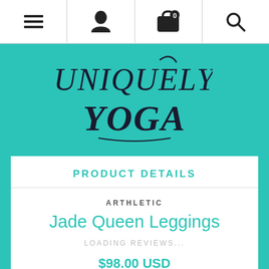Navigation bar with menu, user, cart (0), and search icons
[Figure (logo): Uniquely Yoga logo in dark text on teal background]
PRODUCT DETAILS
ARTHLETIC
Jade Queen Leggings
LOADING REVIEWS...
$98.00 USD